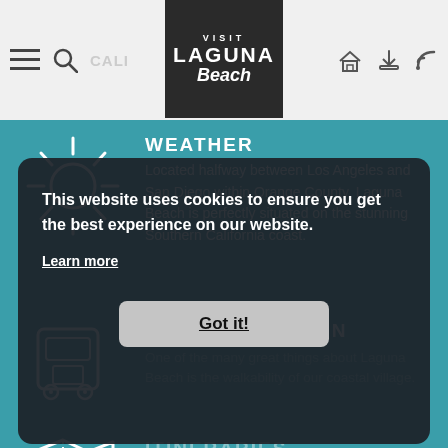Visit Laguna Beach
WEATHER
Located halfway between Los Angeles and San Diego within Orange County, Laguna Beach is perfectly situated on the stunning Southern California coast.
TRANSPORTATION
One of the many great things about Laguna Beach is the walkability of our coastal village.
ITINERARIES
A year-round retreat to get away from it all, and into it all.
This website uses cookies to ensure you get the best experience on our website. Learn more Got it!